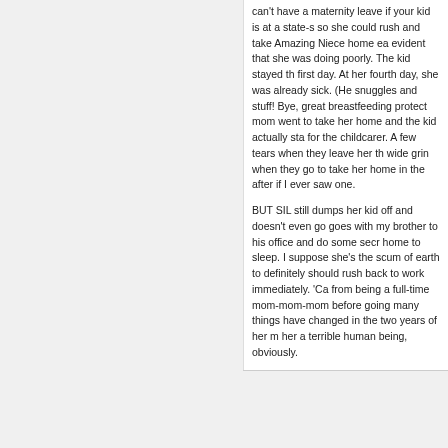can't have a maternity leave if your kid is at a state-s so she could rush and take Amazing Niece home ea evident that she was doing poorly. The kid stayed th first day. At her fourth day, she was already sick. (He snuggles and stuff! Bye, great breastfeeding protect mom went to take her home and the kid actually sta for the childcarer. A few tears when they leave her th wide grin when they go to take her home in the after if I ever saw one.

BUT SIL still dumps her kid off and doesn't even go goes with my brother to his office and do some secr home to sleep. I suppose she's the scum of earth to definitely should rush back to work immediately. 'Ca from being a full-time mom-mom-mom before going many things have changed in the two years of her m her a terrible human being, obviously.
[Figure (photo): User avatar photo showing a person in red/dark clothing]
Log in to
Roadstergal
Nove
My mom was very good at her work. I was so proud